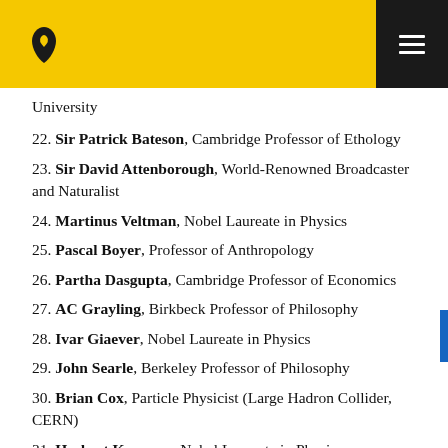University
22. Sir Patrick Bateson, Cambridge Professor of Ethology
23. Sir David Attenborough, World-Renowned Broadcaster and Naturalist
24. Martinus Veltman, Nobel Laureate in Physics
25. Pascal Boyer, Professor of Anthropology
26. Partha Dasgupta, Cambridge Professor of Economics
27. AC Grayling, Birkbeck Professor of Philosophy
28. Ivar Giaever, Nobel Laureate in Physics
29. John Searle, Berkeley Professor of Philosophy
30. Brian Cox, Particle Physicist (Large Hadron Collider, CERN)
31. Herbert Kroemer, Nobel Laureate in Physics